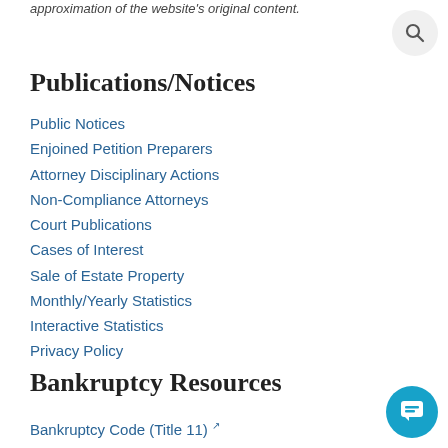approximation of the website's original content.
Publications/Notices
Public Notices
Enjoined Petition Preparers
Attorney Disciplinary Actions
Non-Compliance Attorneys
Court Publications
Cases of Interest
Sale of Estate Property
Monthly/Yearly Statistics
Interactive Statistics
Privacy Policy
Bankruptcy Resources
Bankruptcy Code (Title 11)